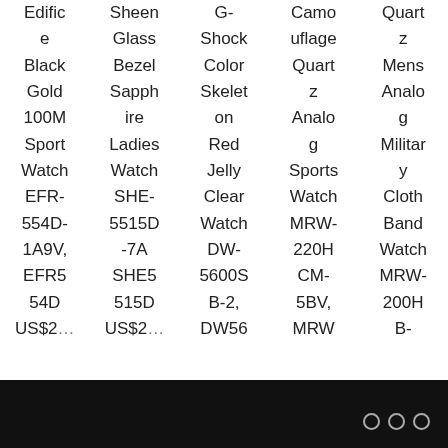| Col1 | Col2 | Col3 | Col4 | Col5 |
| --- | --- | --- | --- | --- |
| Edifice | Sheen Glass Bezel Sapphire Ladies Watch | G-Shock Color Skeleton Red Jelly Clear Watch | Camouflage Quartz Analog Sports Watch | Quartz Mens Analog Military Cloth Band Watch |
| Black |  |  |  |  |
| Gold |  |  |  |  |
| 100M |  |  |  |  |
| Sport |  |  |  |  |
| Watch |  |  |  |  |
| EFR- | SHE- | DW- | MRW- | MRW- |
| 554D- | 5515D | 5600S | 220H | 200H |
| 1A9V, | -7A | B-2, | CM- | B- |
| EFR5 | SHE5 | DW56 | 5BV, |  |
| 54D | 515D |  | MRW |  |
| US$2… | US$2… |  |  |  |